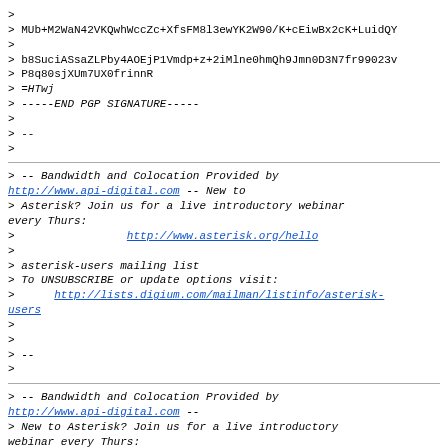>
MUb+M2WaN42VKQwhWccZc+XfsFM8l3ewYK2W90/K+cEiwBx2cK+LuidQY
>
b8SuciASsaZLPby4AOEjP1Vmdp+z+2iMlne0hmQh9Jmn0D3N7fr99023v
> P8q80sjXUm7UX0frinnR
> =HTwj
> -----END PGP SIGNATURE-----
>
> --
>
> -- Bandwidth and Colocation Provided by http://www.api-digital.com -- New to
> Asterisk? Join us for a live introductory webinar every Thurs:
>
>                 http://www.asterisk.org/hello
>
> asterisk-users mailing list
> To UNSUBSCRIBE or update options visit:
>      http://lists.digium.com/mailman/listinfo/asterisk-users
>
>
> --
>
> -- Bandwidth and Colocation Provided by http://www.api-digital.com --
> New to Asterisk? Join us for a live introductory webinar every Thurs: